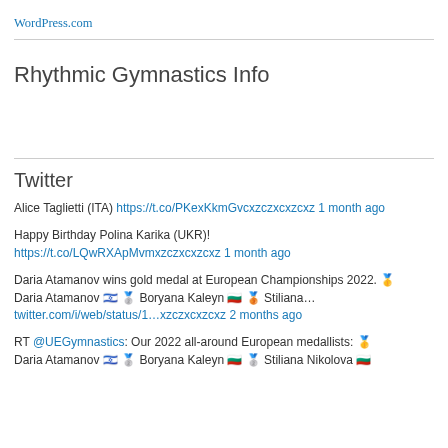WordPress.com
Rhythmic Gymnastics Info
Twitter
Alice Taglietti (ITA) https://t.co/PKexKkmGvcxzczxcxzcxz 1 month ago
Happy Birthday Polina Karika (UKR)! https://t.co/LQwRXApMvmxzczxcxzcxz 1 month ago
Daria Atamanov wins gold medal at European Championships 2022. 🥇 Daria Atamanov 🇮🇱 🥈 Boryana Kaleyn 🇧🇬 🥉 Stiliana… twitter.com/i/web/status/1…xzczxcxzcxz 2 months ago
RT @UEGymnastics: Our 2022 all-around European medallists: 🥇 Daria Atamanov 🇮🇱 🥈 Boryana Kaleyn 🇧🇬 🥈 Stiliana Nikolova 🇧🇬